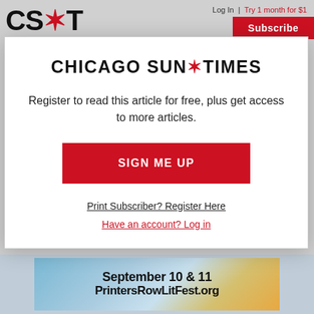CS*T  Log In | Try 1 month for $1  Subscribe
CHICAGO SUN•TIMES
Register to read this article for free, plus get access to more articles.
SIGN ME UP
Print Subscriber? Register Here
Have an account? Log in
[Figure (illustration): Advertisement banner showing 'September 10 & 11 PrintersRowLitFest.org']